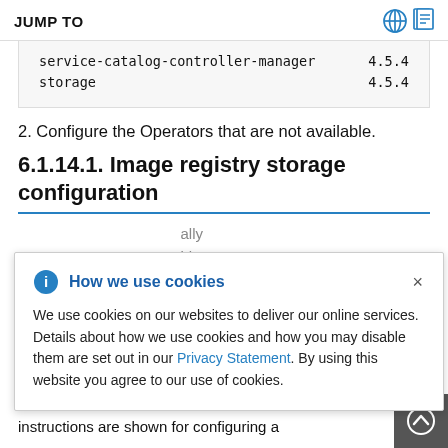JUMP TO
| component | version |
| --- | --- |
| service-catalog-controller-manager | 4.5.4 |
| storage | 4.5.4 |
2. Configure the Operators that are not available.
6.1.14.1. Image registry storage configuration
We use cookies on our websites to deliver our online services. Details about how we use cookies and how you may disable them are set out in our Privacy Statement. By using this website you agree to our use of cookies.
instructions are shown for configuring a